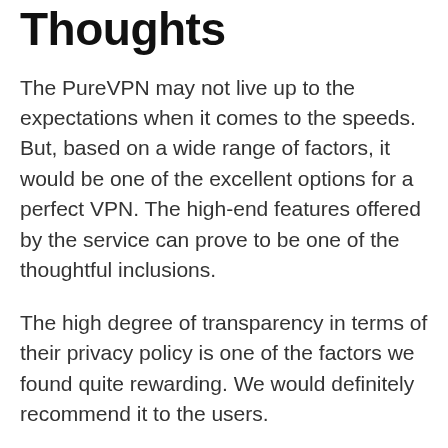Thoughts
The PureVPN may not live up to the expectations when it comes to the speeds. But, based on a wide range of factors, it would be one of the excellent options for a perfect VPN. The high-end features offered by the service can prove to be one of the thoughtful inclusions.
The high degree of transparency in terms of their privacy policy is one of the factors we found quite rewarding. We would definitely recommend it to the users.
Cyber Monday Deals
Windscribe Cyber Monday deals & Black